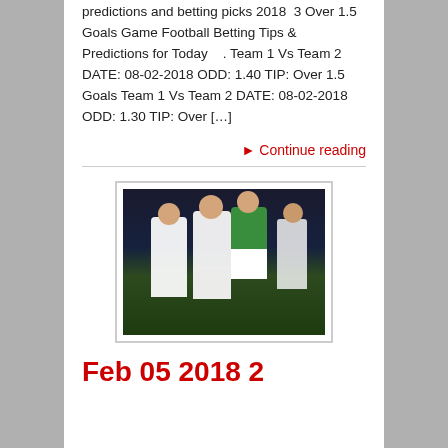predictions and betting picks 2018  3 Over 1.5 Goals Game Football Betting Tips & Predictions for Today    . Team 1 Vs Team 2 DATE: 08-02-2018 ODD: 1.40 TIP: Over 1.5 Goals Team 1 Vs Team 2 DATE: 08-02-2018 ODD: 1.30 TIP: Over […]
► Continue reading
[Figure (photo): Football match photo showing players in white and green jerseys competing on a football pitch at night]
Feb 05 2018 2